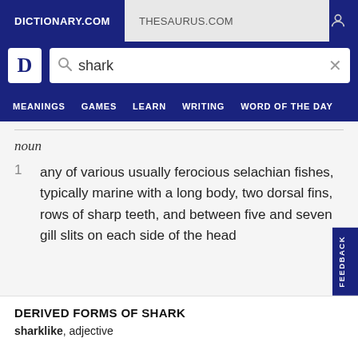DICTIONARY.COM | THESAURUS.COM
[Figure (screenshot): Dictionary.com logo with search bar containing the word 'shark']
noun
1  any of various usually ferocious selachian fishes, typically marine with a long body, two dorsal fins, rows of sharp teeth, and between five and seven gill slits on each side of the head
DERIVED FORMS OF SHARK
sharklike, adjective